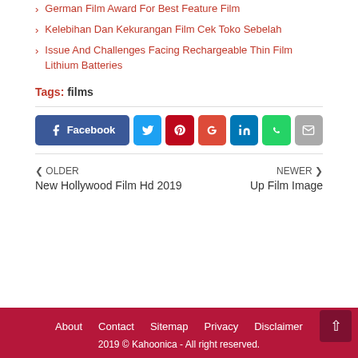German Film Award For Best Feature Film
Kelebihan Dan Kekurangan Film Cek Toko Sebelah
Issue And Challenges Facing Rechargeable Thin Film Lithium Batteries
Tags: films
[Figure (other): Social share buttons: Facebook, Twitter, Pinterest, Google+, LinkedIn, WhatsApp, Email]
OLDER New Hollywood Film Hd 2019
NEWER Up Film Image
About  Contact  Sitemap  Privacy  Disclaimer
2019 © Kahoonica - All right reserved.